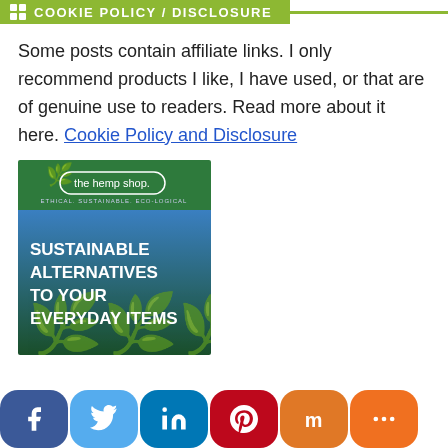COOKIE POLICY / DISCLOSURE
Some posts contain affiliate links. I only recommend products I like, I have used, or that are of genuine use to readers. Read more about it here. Cookie Policy and Disclosure
[Figure (illustration): The Hemp Shop advertisement banner showing hemp plants with text: 'SUSTAINABLE ALTERNATIVES TO YOUR EVERYDAY ITEMS'. Green header with 'the hemp shop. ETHICAL. SUSTAINABLE. ECO-LOGICAL' logo.]
[Figure (infographic): Social media sharing buttons row: Facebook (dark blue), Twitter (light blue), LinkedIn (blue), Pinterest (red), Mix (orange), More (orange)]